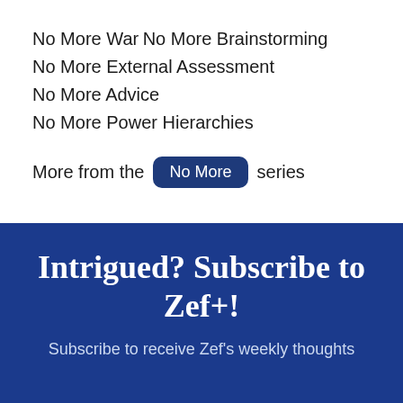No More War
No More Brainstorming
No More External Assessment
No More Advice
No More Power Hierarchies
More from the No More series
Intrigued? Subscribe to Zef+!
Subscribe to receive Zef's weekly thoughts